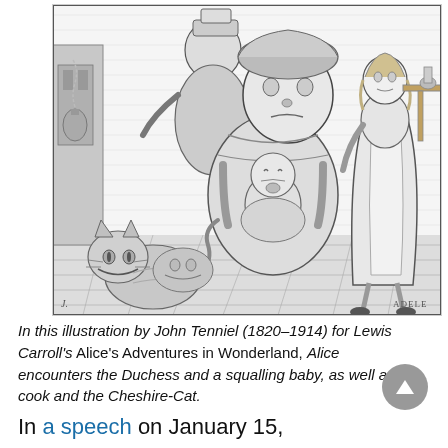[Figure (illustration): Black and white pen-and-ink illustration by John Tenniel for Lewis Carroll's Alice's Adventures in Wonderland. The scene shows Alice standing to the right, the Duchess seated center holding a crying baby, a cook in the background, and the Cheshire-Cat on the lower left. The style is Victorian crosshatch engraving. Artist's monogram visible bottom right.]
In this illustration by John Tenniel (1820-1914) for Lewis Carroll's Alice's Adventures in Wonderland, Alice encounters the Duchess and a squalling baby, as well as a cook and the Cheshire-Cat.
In a speech on January 15,